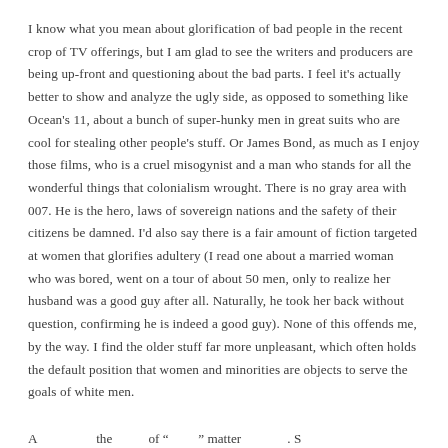I know what you mean about glorification of bad people in the recent crop of TV offerings, but I am glad to see the writers and producers are being up-front and questioning about the bad parts. I feel it's actually better to show and analyze the ugly side, as opposed to something like Ocean's 11, about a bunch of super-hunky men in great suits who are cool for stealing other people's stuff. Or James Bond, as much as I enjoy those films, who is a cruel misogynist and a man who stands for all the wonderful things that colonialism wrought. There is no gray area with 007. He is the hero, laws of sovereign nations and the safety of their citizens be damned. I'd also say there is a fair amount of fiction targeted at women that glorifies adultery (I read one about a married woman who was bored, went on a tour of about 50 men, only to realize her husband was a good guy after all. Naturally, he took her back without question, confirming he is indeed a good guy). None of this offends me, by the way. I find the older stuff far more unpleasant, which often holds the default position that women and minorities are objects to serve the goals of white men.
As a partial text about the comments of fiction tradition matters concluded. S...